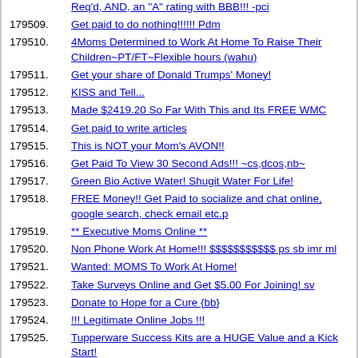Req'd, AND, an "A" rating with BBB!!! -pci
179509. Get paid to do nothing!!!!!! Pdm
179510. 4Moms Determined to Work At Home To Raise Their Children~PT/FT~Flexible hours (wahu)
179511. Get your share of Donald Trumps' Money!
179512. KISS and Tell...
179513. Made $2419.20 So Far With This and Its FREE WMC
179514. Get paid to write articles
179515. This is NOT your Mom's AVON!!
179516. Get Paid To View 30 Second Ads!!! ~cs,dcos,nb~
179517. Green Bio Active Water! Shugit Water For Life!
179518. FREE Money!! Get Paid to socialize and chat online, google search, check email etc.p
179519. ** Executive Moms Online **
179520. Non Phone Work At Home!!! $$$$$$$$$$$ ps sb imr ml
179521. Wanted: MOMS To Work At Home!
179522. Take Surveys Online and Get $5.00 For Joining! sv
179523. Donate to Hope for a Cure {bb}
179524. !!! Legitimate Online Jobs !!!
179525. Tupperware Success Kits are a HUGE Value and a Kick Start!
179526. Take control of your Financial and Environmental future with GoFreeGoGreen!